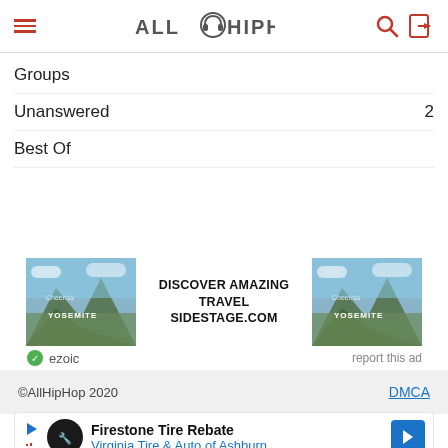AllHipHop
Groups
Unanswered  2
Best Of
[Figure (other): Advertisement banner for SideStage.com travel with mountain/Yosemite imagery and ezoic label]
©AllHipHop 2020   DMCA
[Figure (other): Bottom advertisement: Firestone Tire Rebate - Virginia Tire & Auto of Ashburn]